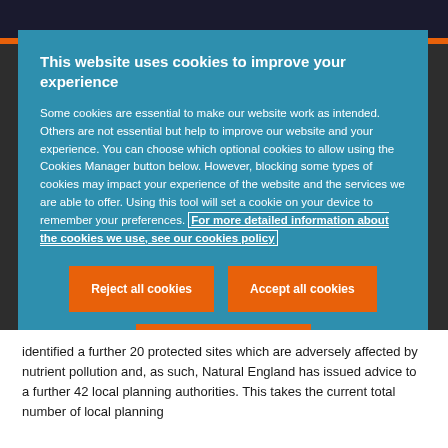This website uses cookies to improve your experience
Some cookies are essential to make our website work as intended. Others are not essential but help to improve our website and your experience. You can choose which optional cookies to allow using the Cookies Manager button below. However, blocking some types of cookies may impact your experience of the website and the services we are able to offer. Using this tool will set a cookie on your device to remember your preferences. For more detailed information about the cookies we use, see our cookies policy
Reject all cookies
Accept all cookies
Cookies Manager
identified a further 20 protected sites which are adversely affected by nutrient pollution and, as such, Natural England has issued advice to a further 42 local planning authorities. This takes the current total number of local planning